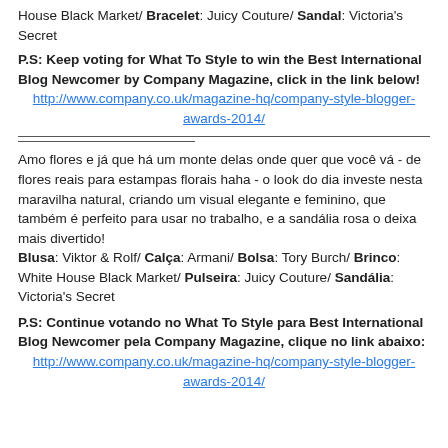House Black Market/ Bracelet: Juicy Couture/ Sandal: Victoria's Secret
P.S: Keep voting for What To Style to win the Best International Blog Newcomer by Company Magazine, click in the link below!
http://www.company.co.uk/magazine-hq/company-style-blogger-awards-2014/
Amo flores e já que há um monte delas onde quer que você vá - de flores reais para estampas florais haha - o look do dia investe nesta maravilha natural, criando um visual elegante e feminino, que também é perfeito para usar no trabalho, e a sandália rosa o deixa mais divertido!
Blusa: Viktor & Rolf/ Calça: Armani/ Bolsa: Tory Burch/ Brinco: White House Black Market/ Pulseira: Juicy Couture/ Sandália: Victoria's Secret
P.S: Continue votando no What To Style para Best International Blog Newcomer pela Company Magazine, clique no link abaixo:
http://www.company.co.uk/magazine-hq/company-style-blogger-awards-2014/